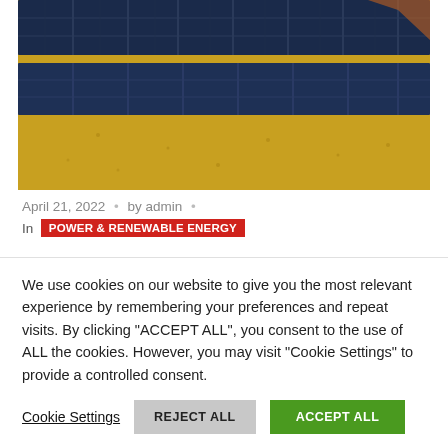[Figure (photo): Aerial view of blue solar panels on sandy/desert ground with orange-yellow soil visible between panels]
April 21, 2022 · by admin ·
In  POWER & RENEWABLE ENERGY
Rajasthan becomes top state
We use cookies on our website to give you the most relevant experience by remembering your preferences and repeat visits. By clicking "ACCEPT ALL", you consent to the use of ALL the cookies. However, you may visit "Cookie Settings" to provide a controlled consent.
Cookie Settings  REJECT ALL  ACCEPT ALL